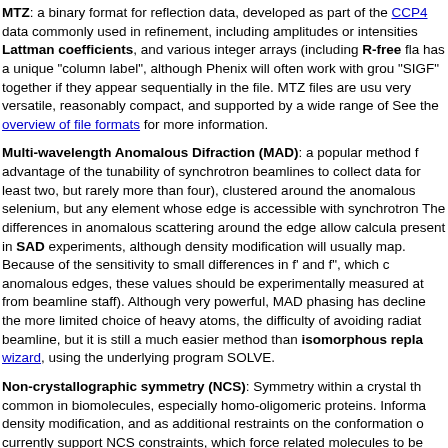MTZ: a binary format for reflection data, developed as part of the CCP4 data commonly used in refinement, including amplitudes or intensities Lattman coefficients, and various integer arrays (including R-free flags has a unique "column label", although Phenix will often work with groups "SIGF" together if they appear sequentially in the file. MTZ files are usually very versatile, reasonably compact, and supported by a wide range of programs. See the overview of file formats for more information.
Multi-wavelength Anomalous Difraction (MAD): a popular method for advantage of the tunability of synchrotron beamlines to collect data for least two, but rarely more than four), clustered around the anomalous edge of selenium, but any element whose edge is accessible with synchrotron radiation The differences in anomalous scattering around the edge allow calculation present in SAD experiments, although density modification will usually map. Because of the sensitivity to small differences in f' and f", which anomalous edges, these values should be experimentally measured at from beamline staff). Although very powerful, MAD phasing has declined the more limited choice of heavy atoms, the difficulty of avoiding radiation beamline, but it is still a much easier method than isomorphous replacement wizard, using the underlying program SOLVE.
Non-crystallographic symmetry (NCS): Symmetry within a crystal that is common in biomolecules, especially homo-oligomeric proteins. Information density modification, and as additional restraints on the conformation of currently support NCS constraints, which force related molecules to be chains in a model, but can also be detected by analysis of heavy-atom Phenix for this purpose, and it can be performed automatically by the AutoSol